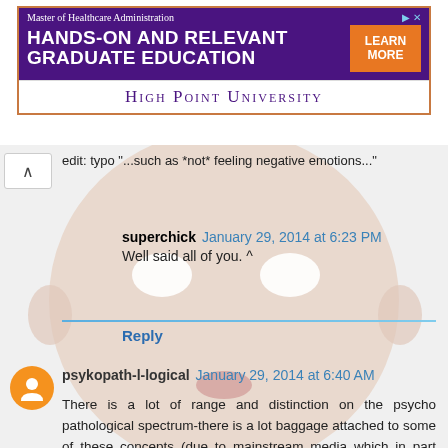[Figure (screenshot): Advertisement banner for High Point University Master of Healthcare Administration program with purple background and orange Learn More button]
edit: typo "...such as *not* feeling negative emotions..."
superchick  January 29, 2014 at 6:23 PM
Well said all of you. ^
Reply
psykopath-l-logical  January 29, 2014 at 6:40 AM
There is a lot of range and distinction on the psycho pathological spectrum-there is a lot baggage attached to some of these concepts (due to mainstream media which in part may have a place with the spread of some of these